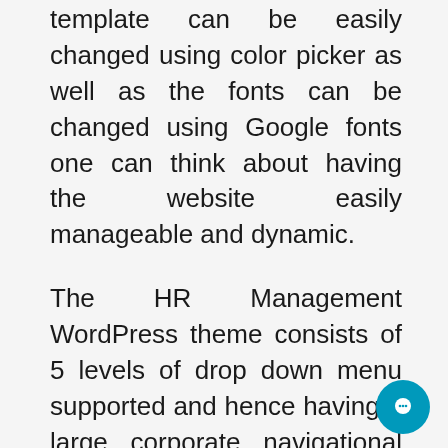template can be easily changed using color picker as well as the fonts can be changed using Google fonts one can think about having the website easily manageable and dynamic.
The HR Management WordPress theme consists of 5 levels of drop down menu supported and hence having a large corporate navigational menu is easier and supported.
Sidebar layouts have been provided for pages and one can easily have the pages full wide, sidebar with right or left sidebar.
Blog layouts also similarly have been provided for setting up blog as per your choice.
Single post layout sidebar choice has also been